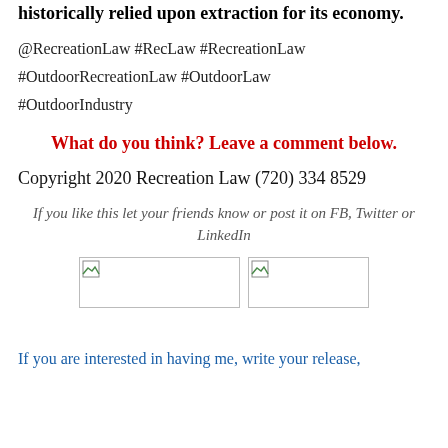historically relied upon extraction for its economy.
@RecreationLaw #RecLaw #RecreationLaw #OutdoorRecreationLaw #OutdoorLaw #OutdoorIndustry
What do you think? Leave a comment below.
Copyright 2020 Recreation Law (720) 334 8529
If you like this let your friends know or post it on FB, Twitter or LinkedIn
[Figure (illustration): Two small broken/placeholder images side by side]
If you are interested in having me, write your release,